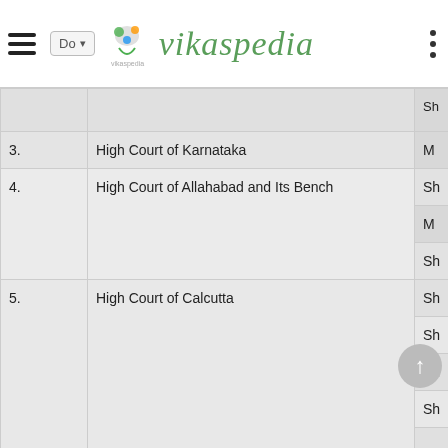vikaspedia
| No. | High Court |  |
| --- | --- | --- |
| 3. | High Court of Karnataka | M |
| 4. | High Court of Allahabad and Its Bench | Sh / M / Sh |
| 5. | High Court of Calcutta | Sh / Sh / Sh / Sh / Sh / Sh |